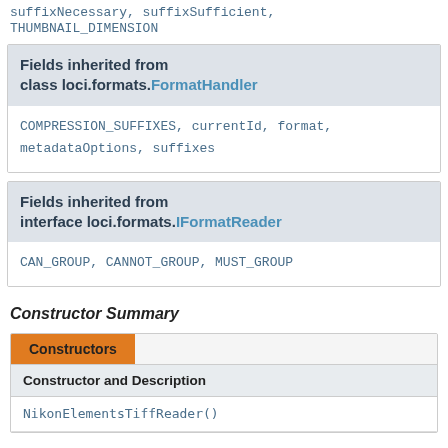suffixNecessary, suffixSufficient, THUMBNAIL_DIMENSION
Fields inherited from class loci.formats.FormatHandler
COMPRESSION_SUFFIXES, currentId, format, metadataOptions, suffixes
Fields inherited from interface loci.formats.IFormatReader
CAN_GROUP, CANNOT_GROUP, MUST_GROUP
Constructor Summary
| Constructor and Description |
| --- |
| NikonElementsTiffReader() |